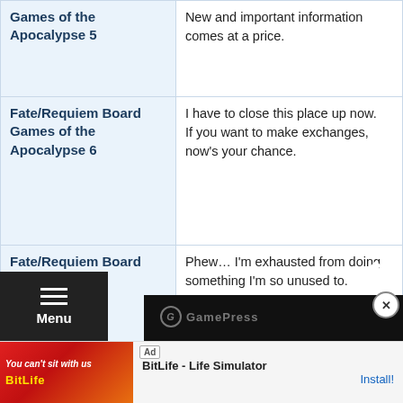| Game Title | Description |
| --- | --- |
| Fate/Requiem Board Games of the Apocalypse 5 | New and important information comes at a price. |
| Fate/Requiem Board Games of the Apocalypse 6 | I have to close this place up now.
If you want to make exchanges, now's your chance. |
| Fate/Requiem Board Games of the Apocalypse | Phew… I'm exhausted from doing something I'm so unused to. |
[Figure (screenshot): GamePress video overlay with black background, logo at top, close button (X), and Top/up-arrow button.]
[Figure (screenshot): Navigation menu bar (hamburger) with 'Menu' label on dark background.]
[Figure (screenshot): Advertisement banner for BitLife - Life Simulator with Install button.]